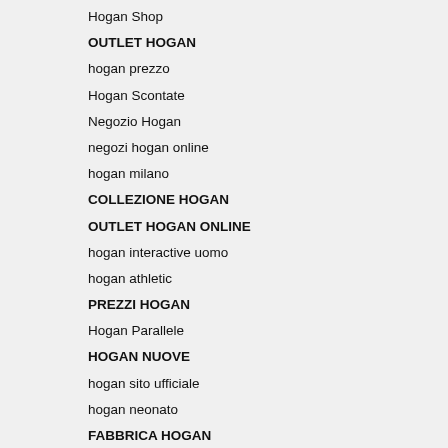Hogan Shop
OUTLET HOGAN
hogan prezzo
Hogan Scontate
Negozio Hogan
negozi hogan online
hogan milano
COLLEZIONE HOGAN
OUTLET HOGAN ONLINE
hogan interactive uomo
hogan athletic
PREZZI HOGAN
Hogan Parallele
HOGAN NUOVE
hogan sito ufficiale
hogan neonato
FABBRICA HOGAN
HOGAN JUNIOR PREZZI
fabbrica hogan marche